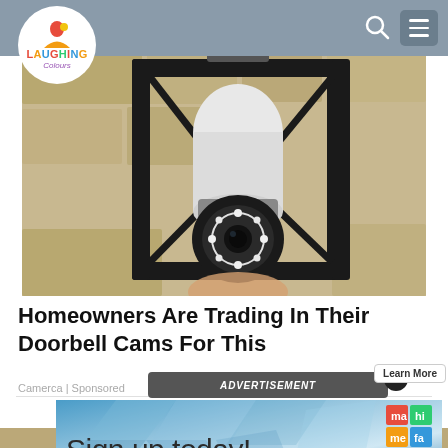Laughing Colours - navigation bar with logo, search and menu
[Figure (photo): A light bulb security camera installed in an outdoor wall lantern fixture, mounted on a textured beige stucco wall. The camera has a white body with a black circular lens housing with LED ring.]
Homeowners Are Trading In Their Doorbell Cams For This
Camerca | Sponsored
[Figure (screenshot): Advertisement banner overlay with text 'ADVERTISEMENT' and an X close button, with a Learn More button]
[Figure (screenshot): Ad banner with blue geometric diamond pattern background and text 'Sign up today!' with Mameta colored logo squares]
[Figure (photo): Partial bottom image strip, showing another article thumbnail]